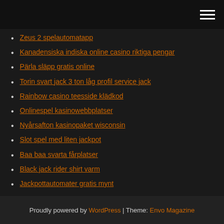[hamburger menu icon]
Zeus 2 spelautomatapp
Kanadensiska indiska online casino riktiga pengar
Pärla släpp gratis online
Torin svart jack 3 ton låg profil service jack
Rainbow casino teesside klädkod
Onlinespel kasinowebbplatser
Nyårsafton kasinopaket wisconsin
Slot spel med liten jackpot
Baa baa svarta fårplatser
Black jack rider shirt varm
Jackpottautomater gratis mynt
Proudly powered by WordPress | Theme: Envo Magazine